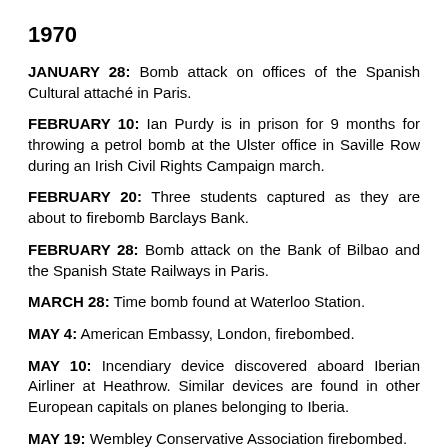1970
JANUARY 28: Bomb attack on offices of the Spanish Cultural attaché in Paris.
FEBRUARY 10: Ian Purdy is in prison for 9 months for throwing a petrol bomb at the Ulster office in Saville Row during an Irish Civil Rights Campaign march.
FEBRUARY 20: Three students captured as they are about to firebomb Barclays Bank.
FEBRUARY 28: Bomb attack on the Bank of Bilbao and the Spanish State Railways in Paris.
MARCH 28: Time bomb found at Waterloo Station.
MAY 4: American Embassy, London, firebombed.
MAY 10: Incendiary device discovered aboard Iberian Airliner at Heathrow. Similar devices are found in other European capitals on planes belonging to Iberia.
MAY 19: Wembley Conservative Association firebombed.
MAY 22: High explosive device discovered at a new police station